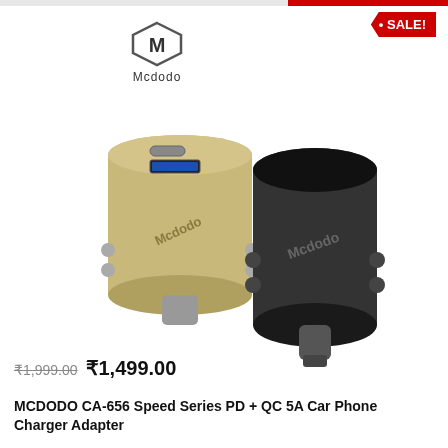[Figure (logo): Mcdodo brand logo — stylized M in a hexagon shape with 'Mcdodo' text below]
[Figure (photo): Two Mcdodo CA-656 car charger adapters — one in gold/champagne color and one in black, showing USB-A and USB-C ports]
• SALE!
₹1,999.00 ₹1,499.00
MCDODO CA-656 Speed Series PD + QC 5A Car Phone Charger Adapter